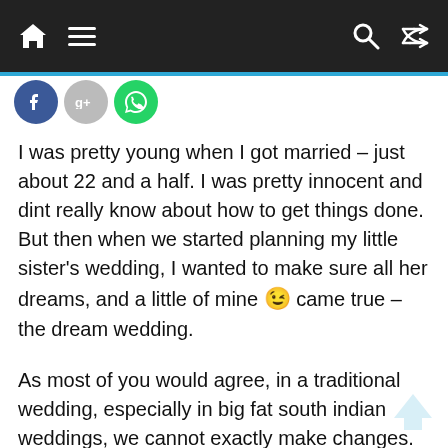Navigation bar with home, menu, search, and shuffle icons
[Figure (other): Social sharing icons: Facebook (blue circle), Google+ (grey circle), WhatsApp (green circle)]
I was pretty young when I got married – just about 22 and a half. I was pretty innocent and dint really know about how to get things done. But then when we started planning my little sister's wedding, I wanted to make sure all her dreams, and a little of mine 😉 came true – the dream wedding.
As most of you would agree, in a traditional wedding, especially in big fat south indian weddings, we cannot exactly make changes. There are a lot of guests to attend to, and whole lot of rituals to perform. Which left me with the reception. There too, my mom is quite strict (and a little conservative). But, thankfully, she did agree